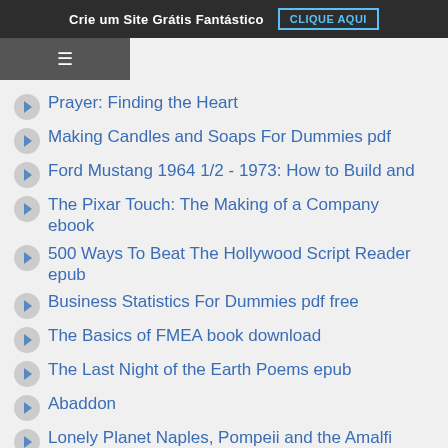Crie um Site Grátis Fantástico  CLIQUE AQUI
Prayer: Finding the Heart
Making Candles and Soaps For Dummies pdf
Ford Mustang 1964 1/2 - 1973: How to Build and
The Pixar Touch: The Making of a Company ebook
500 Ways To Beat The Hollywood Script Reader epub
Business Statistics For Dummies pdf free
The Basics of FMEA book download
The Last Night of the Earth Poems epub
Abaddon
Lonely Planet Naples, Pompeii and the Amalfi
Couture Sewing: The Couture Cardigan Jacket: